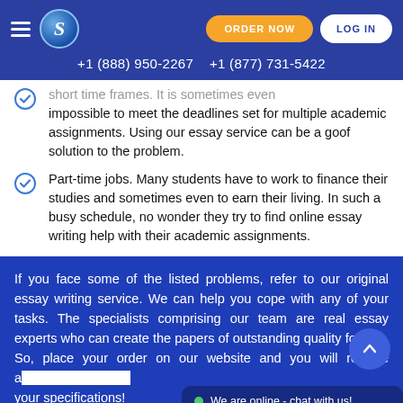+1 (888) 950-2267   +1 (877) 731-5422
short time frames. It is sometimes even impossible to meet the deadlines set for multiple academic assignments. Using our essay service can be a goof solution to the problem.
Part-time jobs. Many students have to work to finance their studies and sometimes even to earn their living. In such a busy schedule, no wonder they try to find online essay writing help with their academic assignments.
If you face some of the listed problems, refer to our original essay writing service. We can help you cope with any of your tasks. The specialists comprising our team are real essay experts who can create the papers of outstanding quality for you. So, place your order on our website and you will receive a... your specifications!